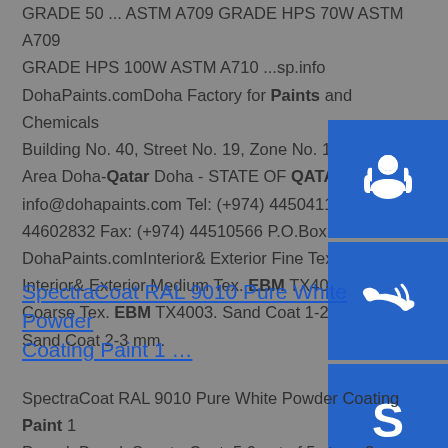GRADE 50 ... ASTM A709 GRADE HPS 70W ASTM A709 GRADE HPS 100W ASTM A710 ...sp.info DohaPaints.comDoha Factory for Paints and Chemicals Building No. 40, Street No. 19, Zone No. 18 New Industrial Area Doha-Qatar Doha - STATE OF QATAR. email: info@dohapaints.com Tel: (+974) 44504119 / (+974) 44602832 Fax: (+974) 44510566 P.O.Box:35409sp.info DohaPaints.comInterior& Exterior Fine Tex. EBM TX4001. Interior& Exterior Medium Tex. EBM TX4002. Interior& Coarse Tex. EBM TX4003. Sand Coat 1-2 mm. EBM TX... Sand Coat 2-3 mm.
[Figure (illustration): Three blue sidebar buttons with white icons: customer support headset icon, phone/call icon, and Skype icon]
SpectraCoat RAL 9010 Pure White Powder Coating Paint 1 …
SpectraCoat RAL 9010 Pure White Powder Coating Paint 1 Pound. Brand: SpectraCoat. 5.0 out of 5 stars. 2 ratings. Price: